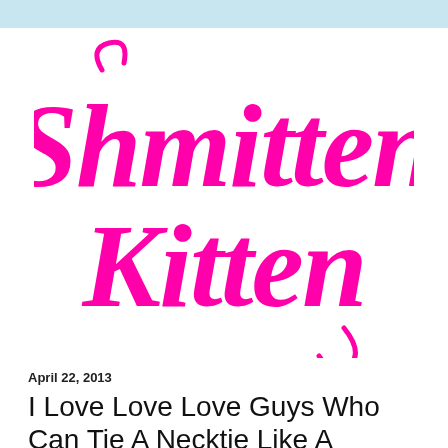[Figure (logo): Shmitten Kitten logo in large magenta/hot-pink decorative serif typeface on white background]
April 22, 2013
I Love Love Love Guys Who Can Tie A Necktie Like A Grownup